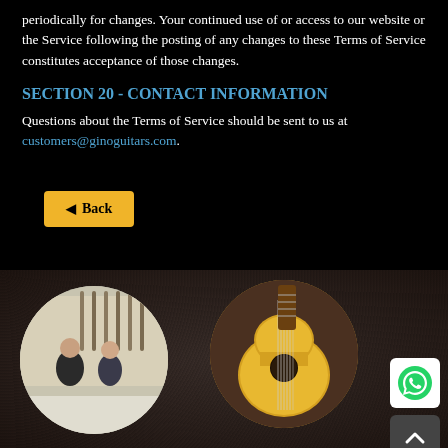periodically for changes. Your continued use of or access to our website or the Service following the posting of any changes to these Terms of Service constitutes acceptance of those changes.
SECTION 20 - CONTACT INFORMATION
Questions about the Terms of Service should be sent to us at customers@ginoguitars.com.
[Figure (photo): Two musicians playing guitars in a guitar shop with many guitars on the wall in the background, shown in a circular crop]
[Figure (photo): Close-up of an acoustic guitar with a natural wood finish shown in a circular crop]